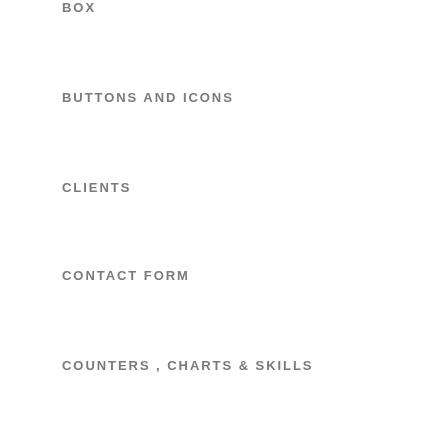BOX
BUTTONS AND ICONS
CLIENTS
CONTACT FORM
COUNTERS , CHARTS & SKILLS
DROPCAP , HIGHLIGHTED & TOOLTIPS
FEATURE BOXES
FULL WIDTH SECTIONS
GALLERY
GOOGLE MAPS
IMAGES & VIDEOS